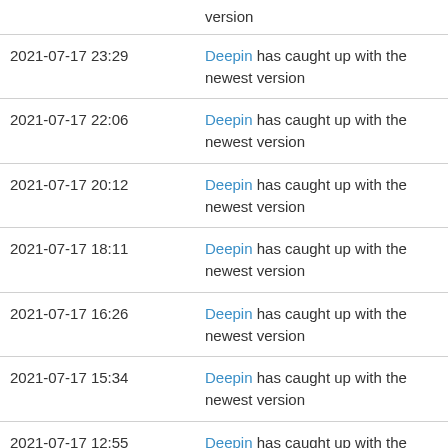| Date | Description |
| --- | --- |
|  | version |
| 2021-07-17 23:29 | Deepin has caught up with the newest version |
| 2021-07-17 22:06 | Deepin has caught up with the newest version |
| 2021-07-17 20:12 | Deepin has caught up with the newest version |
| 2021-07-17 18:11 | Deepin has caught up with the newest version |
| 2021-07-17 16:26 | Deepin has caught up with the newest version |
| 2021-07-17 15:34 | Deepin has caught up with the newest version |
| 2021-07-17 12:55 | Deepin has caught up with the newest version |
| 2021-07-17 11:54 | Deepin has caught up with the newest version |